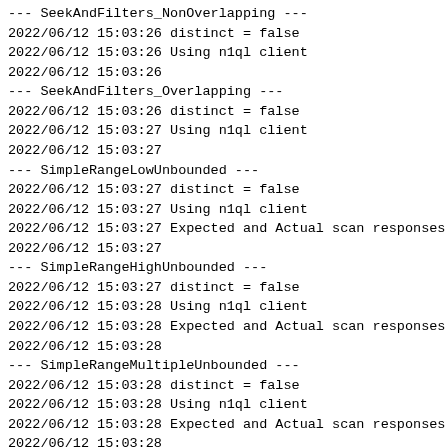--- SeekAndFilters_NonOverlapping ---
2022/06/12 15:03:26 distinct = false
2022/06/12 15:03:26 Using n1ql client
2022/06/12 15:03:26
--- SeekAndFilters_Overlapping ---
2022/06/12 15:03:26 distinct = false
2022/06/12 15:03:27 Using n1ql client
2022/06/12 15:03:27
--- SimpleRangeLowUnbounded ---
2022/06/12 15:03:27 distinct = false
2022/06/12 15:03:27 Using n1ql client
2022/06/12 15:03:27 Expected and Actual scan responses ar
2022/06/12 15:03:27
--- SimpleRangeHighUnbounded ---
2022/06/12 15:03:27 distinct = false
2022/06/12 15:03:28 Using n1ql client
2022/06/12 15:03:28 Expected and Actual scan responses ar
2022/06/12 15:03:28
--- SimpleRangeMultipleUnbounded ---
2022/06/12 15:03:28 distinct = false
2022/06/12 15:03:28 Using n1ql client
2022/06/12 15:03:28 Expected and Actual scan responses ar
2022/06/12 15:03:28
--- FiltersWithUnbounded ---
2022/06/12 15:03:28 distinct = false
2022/06/12 15:03:28 Using n1ql client
2022/06/12 15:03:28 Expected and Actual scan responses ar
2022/06/12 15:03:28
--- FiltersLowGreaterThanHigh ---
2022/06/12 15:03:28 distinct = false
2022/06/12 15:03:29 Using n1ql client